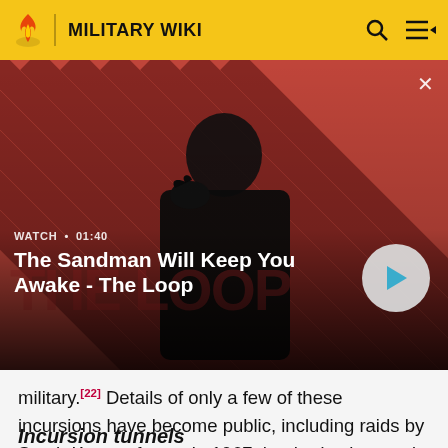MILITARY WIKI
[Figure (screenshot): Video thumbnail showing a dark-clothed figure with a raven on shoulder against a red and black diagonal striped background, titled 'The Sandman Will Keep You Awake - The Loop'. Shows WATCH · 01:40 label and a play button.]
military.[22] Details of only a few of these incursions have become public, including raids by South Korean forces in 1967 that had sabotaged about 50 North Korean facilities.[23]
Incursion tunnels